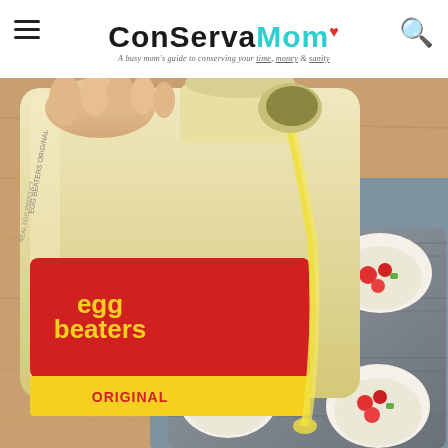ConservaMom — A busy mom's guide to conserving your time, money & sanity
[Figure (photo): A carton of Egg Beaters Original liquid eggs being poured into a muffin tin filled with wonton wrappers, diced tomatoes, and vegetables on a wooden surface.]